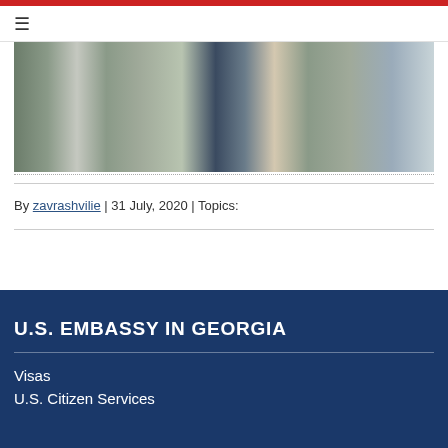[Figure (photo): Photograph showing military personnel in camouflage uniforms walking alongside a child in a dark blue dress with white polka dots, outdoors on pavement.]
By zavrashvilie | 31 July, 2020 | Topics:
U.S. EMBASSY IN GEORGIA
Visas
U.S. Citizen Services